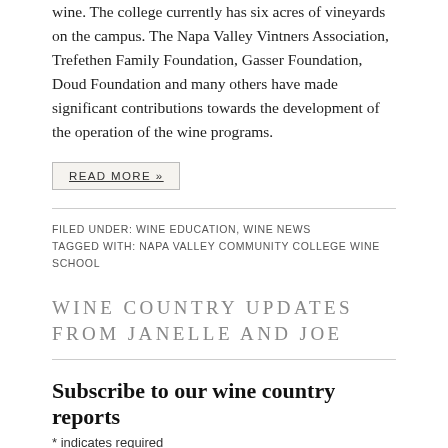wine. The college currently has six acres of vineyards on the campus. The Napa Valley Vintners Association, Trefethen Family Foundation, Gasser Foundation, Doud Foundation and many others have made significant contributions towards the development of the operation of the wine programs.
READ MORE »
FILED UNDER: WINE EDUCATION, WINE NEWS
TAGGED WITH: NAPA VALLEY COMMUNITY COLLEGE WINE SCHOOL
WINE COUNTRY UPDATES FROM JANELLE AND JOE
Subscribe to our wine country reports
* indicates required
Email Address *